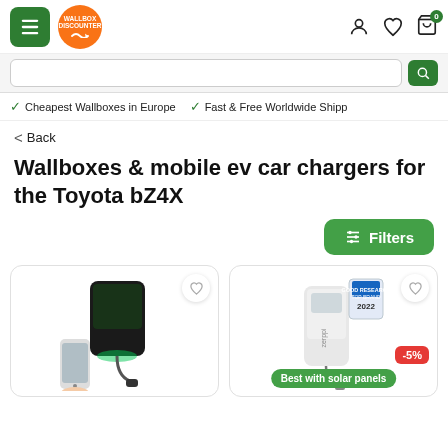[Figure (screenshot): Wallbox Discounter website header with green hamburger menu, orange circular logo, and icons for account, wishlist, and cart (badge: 0)]
Cheapest Wallboxes in Europe    Fast & Free Worldwide Shipp
< Back
Wallboxes & mobile ev car chargers for the Toyota bZ4X
Filters
[Figure (photo): First product card showing a black EV wallbox charger with a smartphone and charging cable]
[Figure (photo): Second product card showing a white Zeppi EV wallbox charger with award badge, -5% discount badge, and 'Best with solar panels' green label]